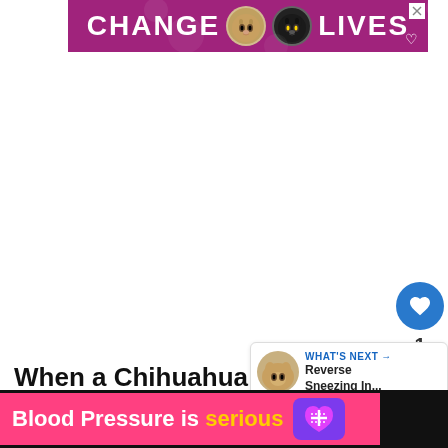[Figure (illustration): Purple banner advertisement with cat faces and text 'CHANGE LIVES' with a heart icon and close button]
[Figure (illustration): White advertisement space in the middle of the page]
[Figure (illustration): Blue circular like button with heart icon, count of 1, and share button]
[Figure (illustration): What's Next widget showing 'Reverse Sneezing In...' with a small dog thumbnail]
When a Chihuahua lacks mental and physical stimulation, they're bursting with energy. This energy could be manifested in
[Figure (illustration): Pink/red bottom banner ad with text 'Blood Pressure is serious' and purple icon]